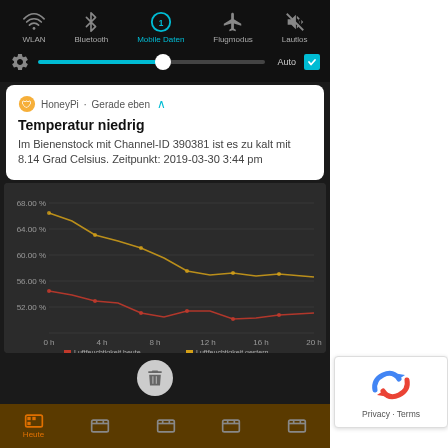[Figure (screenshot): Android phone quick settings panel showing WLAN, Bluetooth, Mobile Daten (active/teal), Flugmodus, Lautlos toggles, brightness slider with Auto checkbox, a HoneyPi notification card, a humidity line chart, and bottom navigation bar.]
HoneyPi · Gerade eben ∧
Temperatur niedrig
Im Bienenstock mit Channel-ID 390381 ist es zu kalt mit 8.14 Grad Celsius. Zeitpunkt: 2019-03-30 3:44 pm
[Figure (line-chart): Line chart showing Luftfeuchtigkeit (humidity) over time (0h to 20h). Two lines: red = Luftfeuchtigkeit heute, yellow/orange = Luftfeuchtigkeit gestern. Y-axis labels: 52.00%, 56.00%, 60.00%, 64.00%, 68.00%. X-axis: 0h, 4h, 8h, 12h, 16h, 20h.]
[Figure (logo): Google reCAPTCHA logo with Privacy · Terms text]